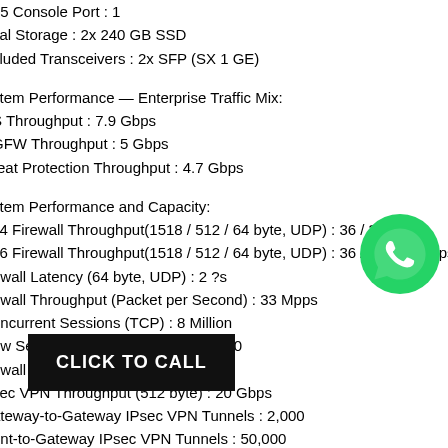45 Console Port : 1
cal Storage : 2x 240 GB SSD
cluded Transceivers : 2x SFP (SX 1 GE)
stem Performance — Enterprise Traffic Mix:
S Throughput : 7.9 Gbps
GFW Throughput : 5 Gbps
reat Protection Throughput : 4.7 Gbps
stem Performance and Capacity:
v4 Firewall Throughput(1518 / 512 / 64 byte, UDP) : 36 / 36 /
v6 Firewall Throughput(1518 / 512 / 64 byte, UDP) : 36 / 36 / 22 Gbps
ewall Latency (64 byte, UDP) : 2 ?s
ewall Throughput (Packet per Second) : 33 Mpps
oncurrent Sessions (TCP) : 8 Million
ew Sessions/Second (TCP) : 300,000
ewall Policies : 10,000
sec VPN Throughput (512 byte) : 20 Gbps
ateway-to-Gateway IPsec VPN Tunnels : 2,000
ent-to-Gateway IPsec VPN Tunnels : 50,000
SL- ... ommended Maximum, Tunnel Mode):10,000
SL Inspection Throughput (IPS, avg. HTTPS) : 5.7 Gbps
[Figure (logo): WhatsApp green phone icon logo]
[Figure (other): Black button with white text: CLICK TO CALL]